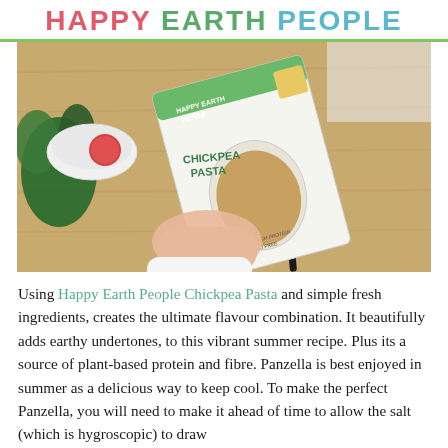HAPPY EARTH PEOPLE
[Figure (photo): A hand holding a box of Happy Earth People Chickpea Pasta (250g net, 100% chickpeas, high protein, gluten free, GMO free, Series 4) over a wooden cutting board. Basil plant and white bowl visible to the left, marble surface in background.]
Using Happy Earth People Chickpea Pasta and simple fresh ingredients, creates the ultimate flavour combination. It beautifully adds earthy undertones, to this vibrant summer recipe. Plus its a source of plant-based protein and fibre. Panzella is best enjoyed in summer as a delicious way to keep cool. To make the perfect Panzella, you will need to make it ahead of time to allow the salt (which is hygroscopic) to draw